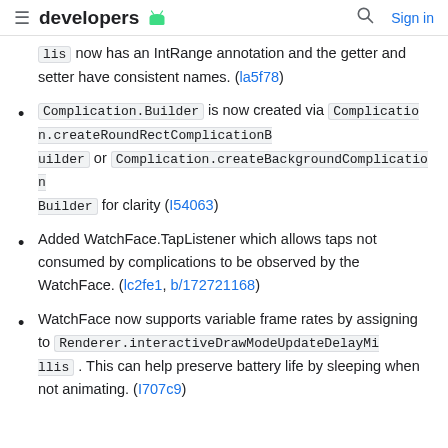developers [android logo] | Sign in
lis now has an IntRange annotation and the getter and setter have consistent names. (la5f78)
Complication.Builder is now created via Complication.createRoundRectComplicationBuilder or Complication.createBackgroundComplicationBuilder for clarity (I54063)
Added WatchFace.TapListener which allows taps not consumed by complications to be observed by the WatchFace. (lc2fe1, b/172721168)
WatchFace now supports variable frame rates by assigning to Renderer.interactiveDrawModeUpdateDelayMillis . This can help preserve battery life by sleeping when not animating. (I707c9)